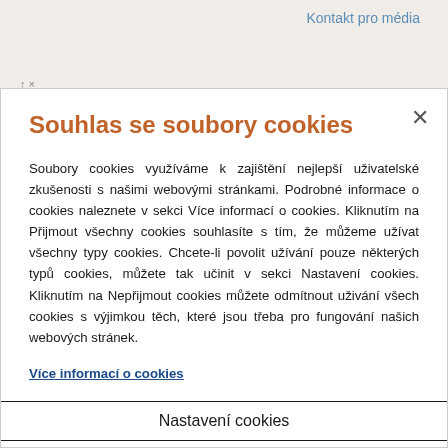Kontakt pro média
Souhlas se soubory cookies
Soubory cookies využíváme k zajištění nejlepší uživatelské zkušenosti s našimi webovými stránkami. Podrobné informace o cookies naleznete v sekci Více informací o cookies. Kliknutím na Přijmout všechny cookies souhlasíte s tím, že můžeme užívat všechny typy cookies. Chcete-li povolit užívání pouze některých typů cookies, můžete tak učinit v sekci Nastavení cookies. Kliknutím na Nepřijmout cookies můžete odmítnout uživání všech cookies s výjimkou těch, které jsou třeba pro fungování našich webových stránek.
Více informací o cookies
Nastavení cookies